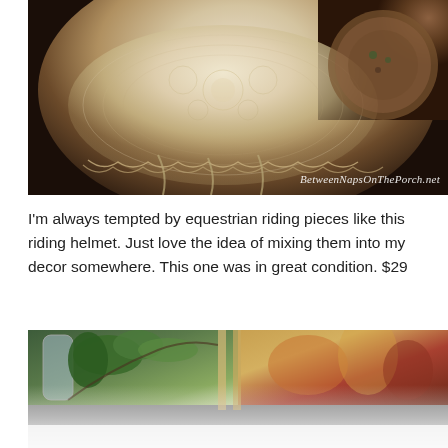[Figure (photo): Top-down view of a vintage lace table cover or riding helmet cover draped over a dark wooden table, with cream/ivory lace featuring floral patterns and scalloped edges. A decorated wooden tray is visible in the upper right. Watermark reads 'BetweenNapsOnThePorch.net'.]
I'm always tempted by equestrian riding pieces like this riding helmet. Just love the idea of mixing them into my decor somewhere. This one was in great condition. $29
[Figure (photo): Indoor scene showing a glass vase with green plants on the left side, a wooden chair or rack in the middle, and a colorful tropical floral artwork/fabric on the right. The bottom portion fades to white.]